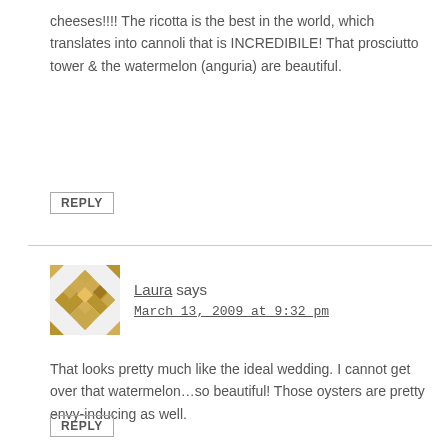cheeses!!!! The ricotta is the best in the world, which translates into cannoli that is INCREDIBILE! That prosciutto tower & the watermelon (anguria) are beautiful.
REPLY
Laura says
March 13, 2009 at 9:32 pm
That looks pretty much like the ideal wedding. I cannot get over that watermelon…so beautiful! Those oysters are pretty envy-inducing as well.
REPLY